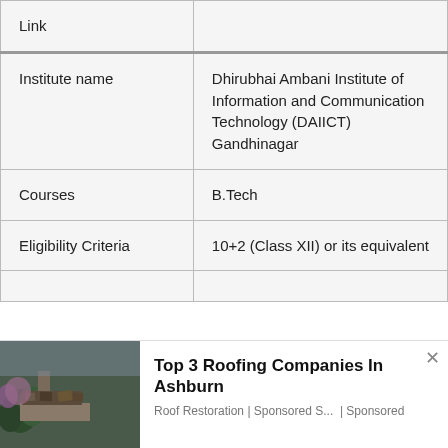|  |  |
| --- | --- |
| Link |  |
| Institute name | Dhirubhai Ambani Institute of Information and Communication Technology (DAIICT) Gandhinagar |
| Courses | B.Tech |
| Eligibility Criteria | 10+2 (Class XII) or its equivalent |
[Figure (photo): Advertisement banner showing a damaged roof with text 'Top 3 Roofing Companies In Ashburn' and subtext 'Roof Restoration | Sponsored S... | Sponsored']